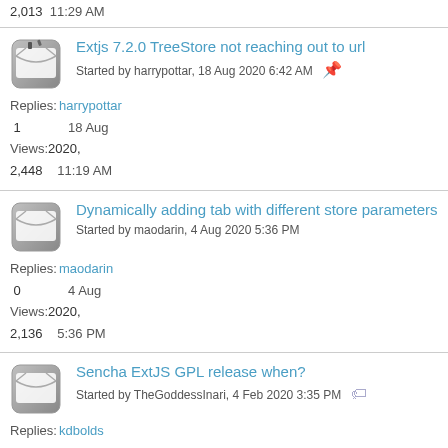2,013  11:29 AM
Extjs 7.2.0 TreeStore not reaching out to url
Started by harrypottar, 18 Aug 2020 6:42 AM
Replies: harrypottar
1    18 Aug
Views: 2020,
2,448  11:19 AM
Dynamically adding tab with different store parameters
Started by maodarin, 4 Aug 2020 5:36 PM
Replies: maodarin
0    4 Aug
Views: 2020,
2,136  5:36 PM
Sencha ExtJS GPL release when?
Started by TheGoddessInari, 4 Feb 2020 3:35 PM
Replies: kdbolds
6    4 Aug